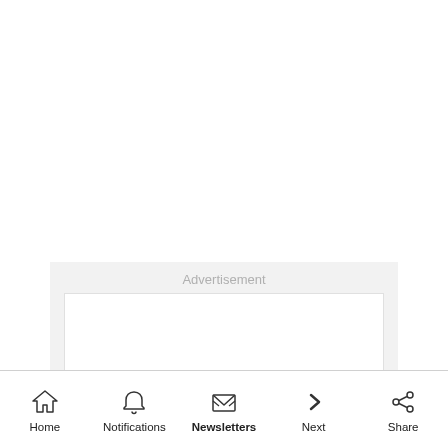[Figure (screenshot): Advertisement placeholder area with light gray background and white inner box]
Home | Notifications | Newsletters | Next | Share